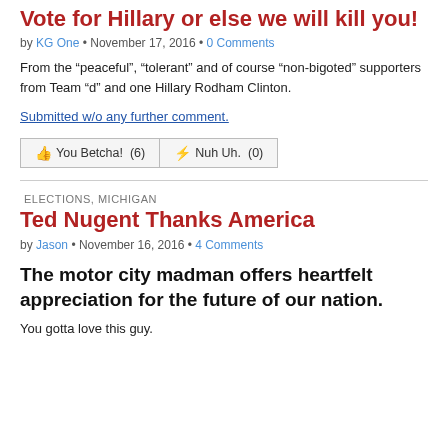Vote for Hillary or else we will kill you!
by KG One • November 17, 2016 • 0 Comments
From the "peaceful", "tolerant" and of course "non-bigoted" supporters from Team "d" and one Hillary Rodham Clinton.
Submitted w/o any further comment.
You Betcha! (6)   Nuh Uh. (0)
ELECTIONS, MICHIGAN
Ted Nugent Thanks America
by Jason • November 16, 2016 • 4 Comments
The motor city madman offers heartfelt appreciation for the future of our nation.
You gotta love this guy.